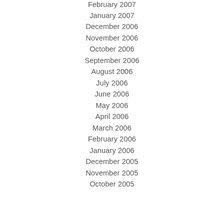February 2007
January 2007
December 2006
November 2006
October 2006
September 2006
August 2006
July 2006
June 2006
May 2006
April 2006
March 2006
February 2006
January 2006
December 2005
November 2005
October 2005